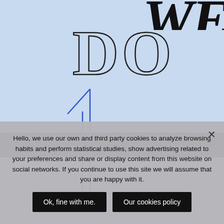[Figure (illustration): Large italic bold 'WE' text in black at top right on light blue background, partially cropped]
DO
[Figure (illustration): Large outlined number '1' in blue/dark on light blue background]
[Figure (photo): Dark strip at bottom of blue area, dark photo background]
Hello, we use our own and third party cookies to analyze browsing habits and perform statistical studies, show advertising related to your preferences and share or display content from this website on social networks. If you continue to use this site we will assume that you are happy with it.
Ok, fine with me.
Our cookies policy